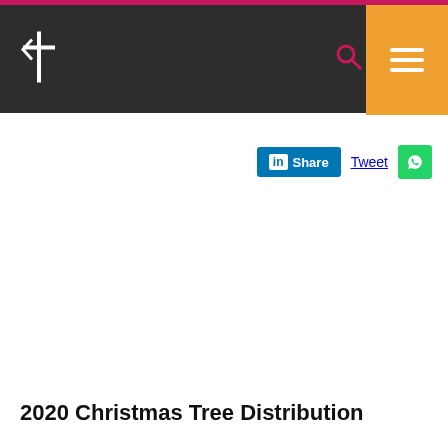[Figure (screenshot): Navigation bar with church logo, search icon, and orange hamburger menu button on dark background]
[Figure (screenshot): Social share buttons: LinkedIn Share, Tweet, and WhatsApp]
2020 Christmas Tree Distribution